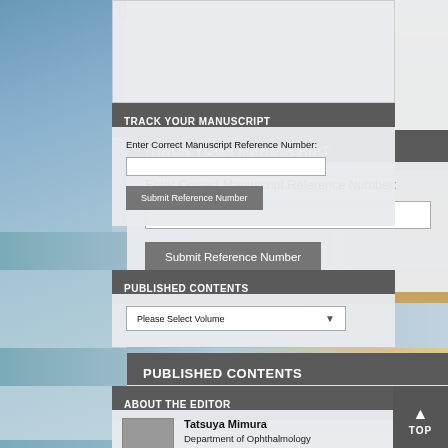TRACK YOUR MANUSCRIPT
Enter Correct Manuscript Reference Number:
PUBLISHED CONTENTS
Please Select Volume
ABOUT THE EDITOR
Tatsuya Mimura
Department of Ophthalmology